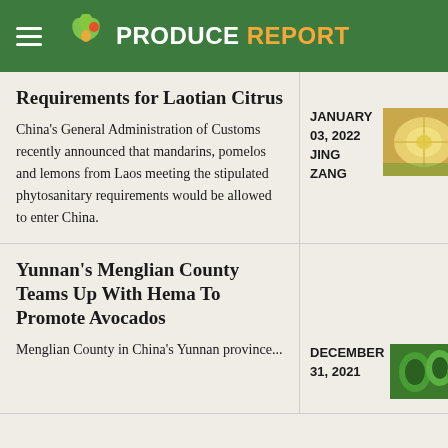PRODUCE REPORT
Requirements for Laotian Citrus
China's General Administration of Customs recently announced that mandarins, pomelos and lemons from Laos meeting the stipulated phytosanitary requirements would be allowed to enter China.
JANUARY 03, 2022
JING ZANG
[Figure (photo): Close-up photo of citrus fruit slices, yellow color]
Yunnan's Menglian County Teams Up With Hema To Promote Avocados
Menglian County in China's Yunnan province...
DECEMBER 31, 2021
[Figure (photo): Photo of avocados, green color]